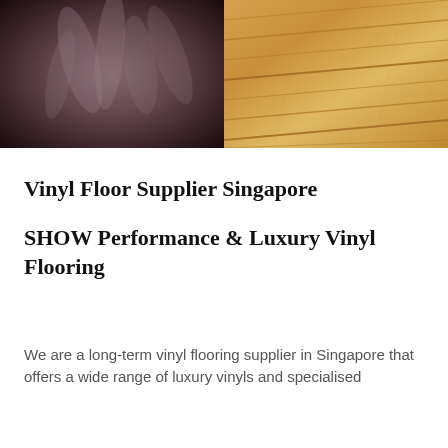[Figure (photo): Dark abstract blurred image, possibly smoke or fabric, with dark tones of brown and grey]
[Figure (photo): Close-up photo of light wood-grain vinyl flooring planks in a warm golden-tan color]
Vinyl Floor Supplier Singapore
SHOW Performance & Luxury Vinyl Flooring
We are a long-term vinyl flooring supplier in Singapore that offers a wide range of luxury vinyls and specialised